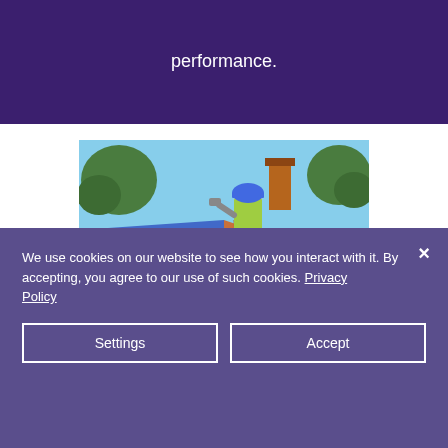performance.
[Figure (photo): Two roofers wearing blue hard hats and yellow high-visibility vests working on a roof, installing roof tiles with blue underlay visible. Trees and sky visible in background.]
We use cookies on our website to see how you interact with it. By accepting, you agree to our use of such cookies. Privacy Policy